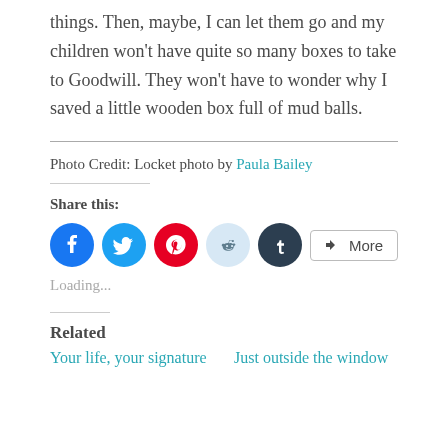things. Then, maybe, I can let them go and my children won't have quite so many boxes to take to Goodwill. They won't have to wonder why I saved a little wooden box full of mud balls.
Photo Credit: Locket photo by Paula Bailey
Share this:
[Figure (infographic): Social share buttons: Facebook (blue circle), Twitter (light blue circle), Pinterest (red circle), Reddit (light blue circle), Tumblr (dark circle), and a More button with share icon]
Loading...
Related
Your life, your signature   Just outside the window